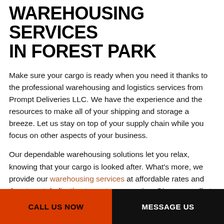WAREHOUSING SERVICES IN FOREST PARK
Make sure your cargo is ready when you need it thanks to the professional warehousing and logistics services from Prompt Deliveries LLC. We have the experience and the resources to make all of your shipping and storage a breeze. Let us stay on top of your supply chain while you focus on other aspects of your business.
Our dependable warehousing solutions let you relax, knowing that your cargo is looked after. What's more, we provide our warehousing services at affordable rates and the utmost dedication to customer service. Give us a call at
CALL US NOW | MESSAGE US